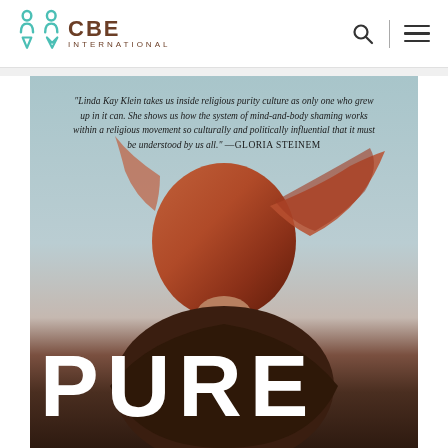CBE International
[Figure (photo): Book cover for 'PURE' by Linda Kay Klein. Shows a woman with long red hair seen from behind, with a quote from Gloria Steinem at the top: 'Linda Kay Klein takes us inside religious purity culture as only one who grew up in it can. She shows us how the system of mind-and-body shaming works within a religious movement so culturally and politically influential that it must be understood by us all.' The word PURE appears in large white letters at the bottom.]